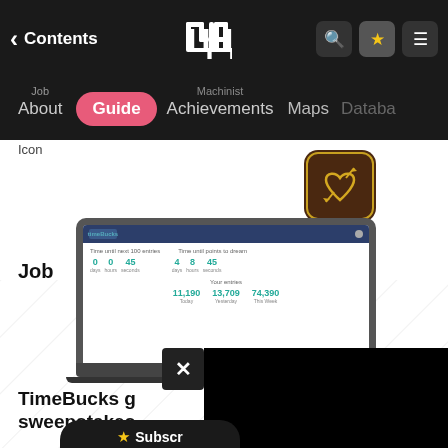Contents
About  Guide  Achievements  Maps  Database
Icon
Job
[Figure (illustration): Dancer job icon: dark brown rounded square with gold heart/arrow symbol]
Dancer
[Figure (screenshot): TimeBucks website screenshot showing a laptop with the TimeBucks dashboard displaying time until milestones and earnings stats (Today: 11,190, Yesterday: 13,709, This Week: 74,390)]
TimeBucks g sweepstakes
[Figure (illustration): Subscribe button with star icon partially visible at bottom]